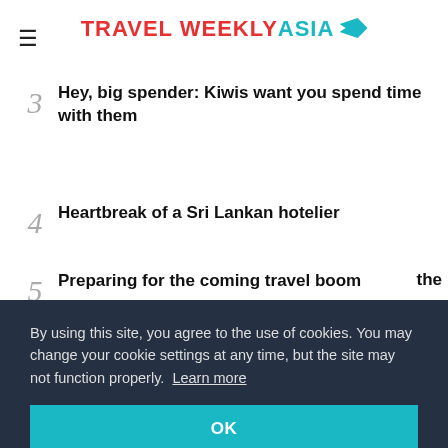TRAVEL WEEKLY ASIA
3 Hey, big spender: Kiwis want you spend time with them
4 Heartbreak of a Sri Lankan hotelier
5 Preparing for the coming travel boom the
By using this site, you agree to the use of cookies. You may change your cookie settings at any time, but the site may not function properly. Learn more
OK